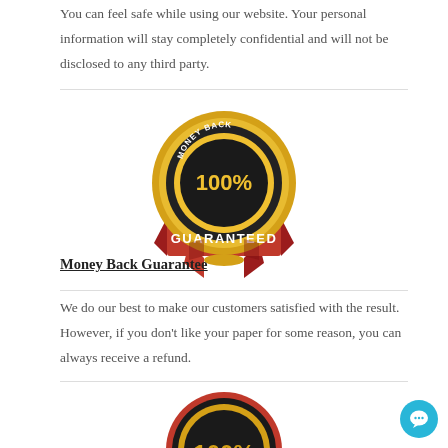You can feel safe while using our website. Your personal information will stay completely confidential and will not be disclosed to any third party.
[Figure (illustration): Money Back 100% Guaranteed badge/seal in red and gold]
Money Back Guarantee
We do our best to make our customers satisfied with the result. However, if you don't like your paper for some reason, you can always receive a refund.
[Figure (illustration): Plagiarism Free Guarantee 100% badge/seal in red and gold]